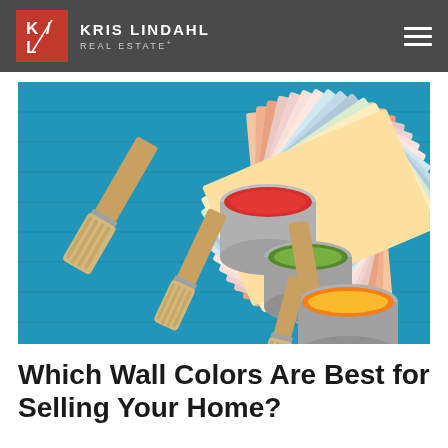KRIS LINDAHL REAL ESTATE+
[Figure (photo): Overhead view of paint brushes with wooden handles resting on open paint cans of red, green, and yellow paint, alongside a fanned-out collection of colorful paint color swatches, all arranged on a blue painted wooden surface.]
Which Wall Colors Are Best for Selling Your Home?